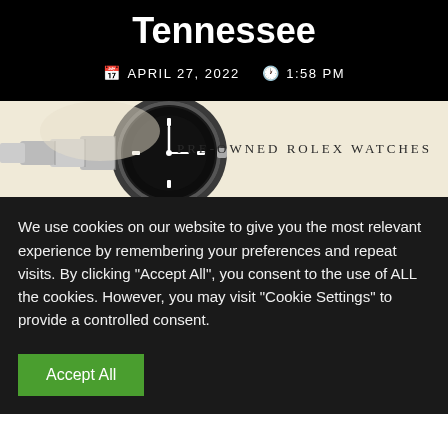Tennessee
APRIL 27, 2022   1:58 PM
[Figure (photo): A pre-owned Rolex watch on a light cream/beige background with text reading PRE-OWNED ROLEX WATCHES]
We use cookies on our website to give you the most relevant experience by remembering your preferences and repeat visits. By clicking "Accept All", you consent to the use of ALL the cookies. However, you may visit "Cookie Settings" to provide a controlled consent.
Accept All